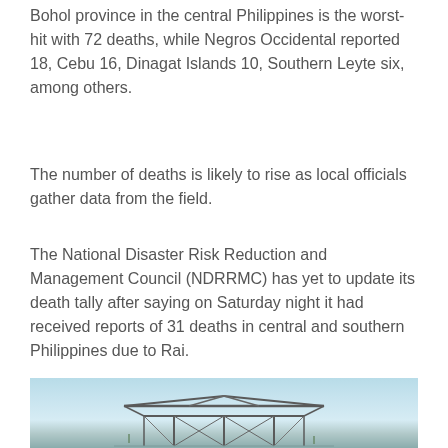Bohol province in the central Philippines is the worst-hit with 72 deaths, while Negros Occidental reported 18, Cebu 16, Dinagat Islands 10, Southern Leyte six, among others.
The number of deaths is likely to rise as local officials gather data from the field.
The National Disaster Risk Reduction and Management Council (NDRRMC) has yet to update its death tally after saying on Saturday night it had received reports of 31 deaths in central and southern Philippines due to Rai.
[Figure (photo): A damaged structure or building with exposed metal framework/skeleton, photographed against a light blue cloudy sky, likely showing typhoon damage in the Philippines.]